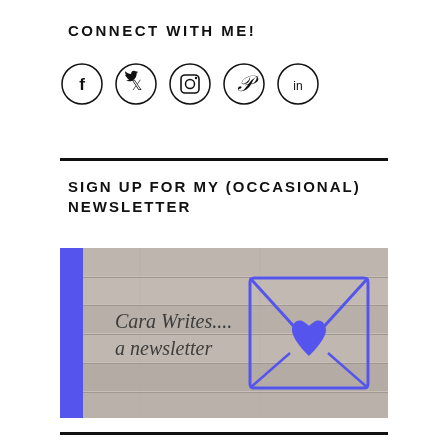CONNECT WITH ME!
[Figure (infographic): Five social media icons in circles: Facebook, Twitter, Instagram, Pinterest, LinkedIn]
[Figure (infographic): Newsletter signup banner image showing 'Cara Writes.... a newsletter' text on a wood background with a blue envelope icon containing a heart]
SIGN UP FOR MY (OCCASIONAL) NEWSLETTER